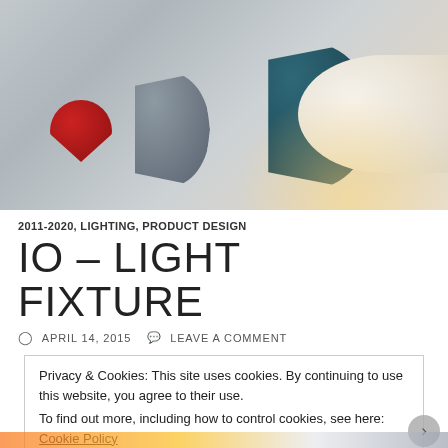[Figure (photo): Product photo showing four IO wall light fixtures mounted on a light grey wall: a red semicircle, a dark grey D-shape, a dark teal/navy D-shape, and a large white curved fixture with warm light glow.]
2011-2020, LIGHTING, PRODUCT DESIGN
IO – LIGHT FIXTURE
APRIL 14, 2015   LEAVE A COMMENT
Privacy & Cookies: This site uses cookies. By continuing to use this website, you agree to their use.
To find out more, including how to control cookies, see here: Cookie Policy
Close and accept